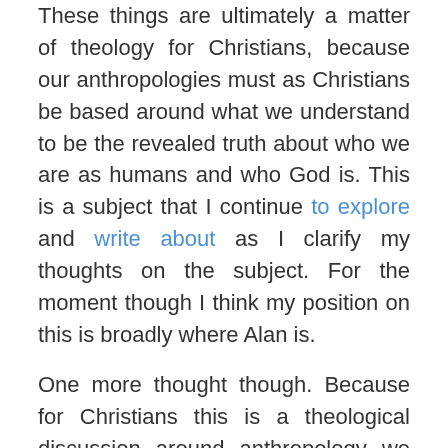These things are ultimately a matter of theology for Christians, because our anthropologies must as Christians be based around what we understand to be the revealed truth about who we are as humans and who God is. This is a subject that I continue to explore and write about as I clarify my thoughts on the subject. For the moment though I think my position on this is broadly where Alan is.
One more thought though. Because for Christians this is a theological discussion around anthropology we Conservatives are never going to be able to convince non-Christians of our position, because we're simply talking another language. That's one of the reasons why I think the idea that we can somehow counter the liberal drift of the